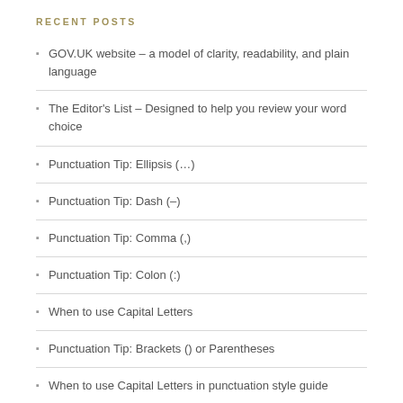RECENT POSTS
GOV.UK website – a model of clarity, readability, and plain language
The Editor's List – Designed to help you review your word choice
Punctuation Tip: Ellipsis (…)
Punctuation Tip: Dash (–)
Punctuation Tip: Comma (,)
Punctuation Tip: Colon (:)
When to use Capital Letters
Punctuation Tip: Brackets () or Parentheses
When to use Capital Letters in punctuation style guide
How to Write an A-Grade Essay + Free Essay Guide